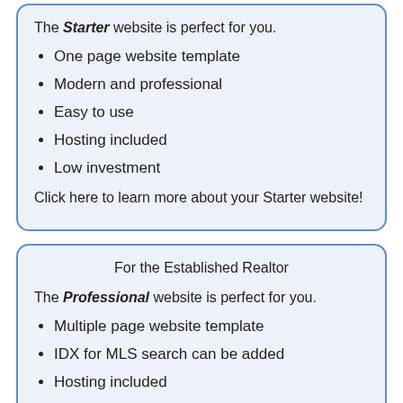The Starter website is perfect for you.
One page website template
Modern and professional
Easy to use
Hosting included
Low investment
Click here to learn more about your Starter website!
For the Established Realtor
The Professional website is perfect for you.
Multiple page website template
IDX for MLS search can be added
Hosting included
Affordable investment